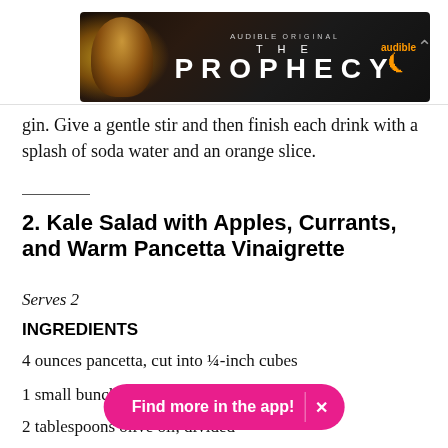[Figure (other): Audible advertisement banner for 'The Prophecy' audiobook original, with dark fantasy artwork and Audible logo]
gin. Give a gentle stir and then finish each drink with a splash of soda water and an orange slice.
2. Kale Salad with Apples, Currants, and Warm Pancetta Vinaigrette
Serves 2
INGREDIENTS
4 ounces pancetta, cut into ¼-inch cubes
1 small bunch [partially obscured]
2 tablespoons olive oil, divided
Find more in the app!  ✕